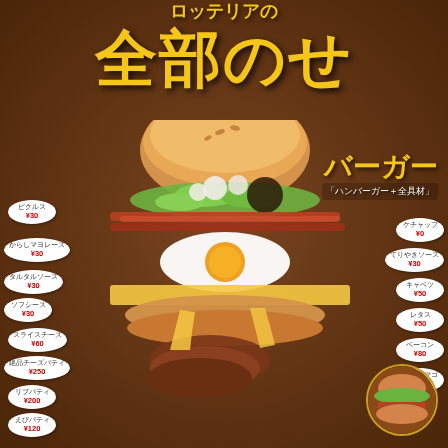ロッテリアの全部のせバーガー
「ハンバーガー＋全具材」
[Figure (photo): Large layered burger with multiple ingredients including bun, lettuce, egg, bacon, cheese, and patties, shown in cross-section exploded view with ingredient labels pointing to each layer]
ピクルス ¥30
からしマヨレーズ ¥30
タルタルソース ¥30
ソフシーズ ¥30
スライスチーズ ¥60
絶品チーズパティ ¥250
リブパティ ¥200
えびパティ ¥120
ケチャップ ¥0
てりやきソース ¥30
キャベツ ¥50
レタス ¥50
ベーコン ¥80
平飼タマゴ ¥80